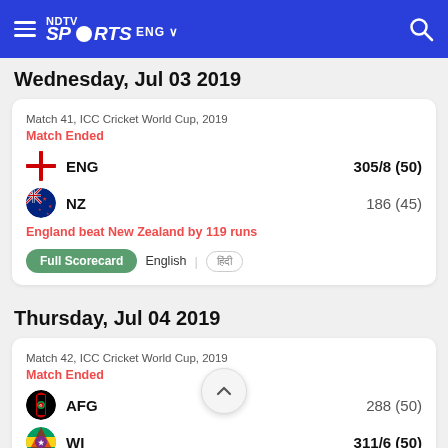NDTV Sports ENG
Wednesday, Jul 03 2019
Match 41, ICC Cricket World Cup, 2019
Match Ended
ENG  305/8 (50)
NZ  186 (45)
England beat New Zealand by 119 runs
Full Scorecard   English   हिंदी
Thursday, Jul 04 2019
Match 42, ICC Cricket World Cup, 2019
Match Ended
AFG  288 (50)
WI  311/6 (50)